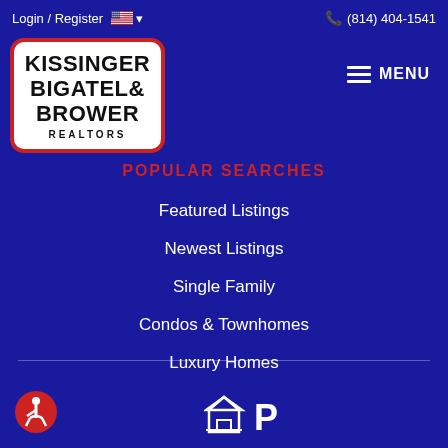Login / Register  (814) 404-1541
[Figure (logo): Kissinger Bigatel & Brower Realtors logo in white rounded rectangle with red border]
POPULAR SEARCHES
Featured Listings
Newest Listings
Single Family
Condos & Townhomes
Luxury Homes
Accessibility | Terms of Service | Privacy Policy | DMCA Notice © Copyright 2022 Paul Confer. All Rights Reserved.